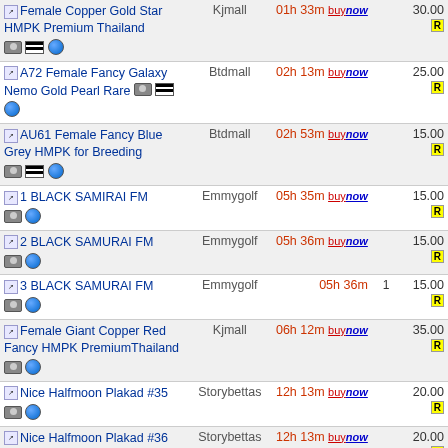| Item | Seller | Time Left | Bids | Price |
| --- | --- | --- | --- | --- |
| Female Copper Gold Star HMPK Premium Thailand | Kjmall | 01h 33m | buynow | 30.00 |
| A72 Female Fancy Galaxy Nemo Gold Pearl Rare | Btdmall | 02h 13m | buynow | 25.00 |
| AU61 Female Fancy Blue Grey HMPK for Breeding | Btdmall | 02h 53m | buynow | 15.00 |
| 1 BLACK SAMIRAI FM | Emmygolf | 05h 35m | buynow | 15.00 |
| 2 BLACK SAMURAI FM | Emmygolf | 05h 36m | buynow | 15.00 |
| 3 BLACK SAMURAI FM | Emmygolf | 05h 36m | 1 | 15.00 |
| Female Giant Copper Red Fancy HMPK PremiumThailand | Kjmall | 06h 12m | buynow | 35.00 |
| Nice Halfmoon Plakad #35 | Storybettas | 12h 13m | buynow | 20.00 |
| Nice Halfmoon Plakad #36 | Storybettas | 12h 13m | buynow | 20.00 |
| Nice Halfmoon Plakad #37 | Storybettas | 12h 14m | buynow | 20.00 |
| AU146 Male Fancy Candy in Multi Color HMPK Premium | Btdmall | 12h 18m | buynow | 20.00 |
| Nice Halfmoon Plakad | Storybettas | 12h 19m | buynow | 20.00 |